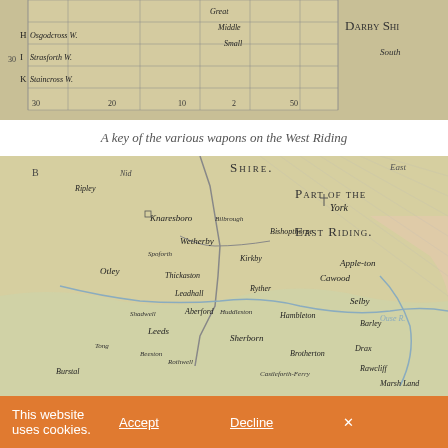[Figure (map): Antique map detail showing a key of wapons (wapentakes) in the West Riding with grid table listing letters H, I, K for Osgodcross, Strasforth, and Staincross Wapentakes, with columns for Great, Middle, Small measures and partial text 'Darby Shi...' and 'South']
A key of the various wapons on the West Riding
[Figure (map): Antique map detail of the central Yorkshire area showing West Riding and part of the East Riding. Features towns including York, Knaresborough, Wetherby, Otley, Leeds, Aberford, Sherborn, Selby, and surrounding settlements. Shows roads, rivers, and geographic features typical of 17th-18th century cartography. Text labels include 'Shire.', 'Part of the East Riding.']
This website uses cookies. Accept Decline ×